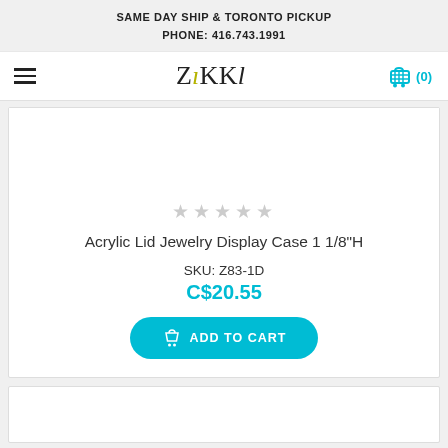SAME DAY SHIP & TORONTO PICKUP
PHONE: 416.743.1991
[Figure (logo): Zikki logo in stylized serif font with decorative letter, and hamburger menu icon on left, shopping cart icon (0) on right]
[Figure (photo): Product image area for Acrylic Lid Jewelry Display Case (white/blank area)]
★★★★★ (empty star rating)
Acrylic Lid Jewelry Display Case 1 1/8"H
SKU: Z83-1D
C$20.55
ADD TO CART